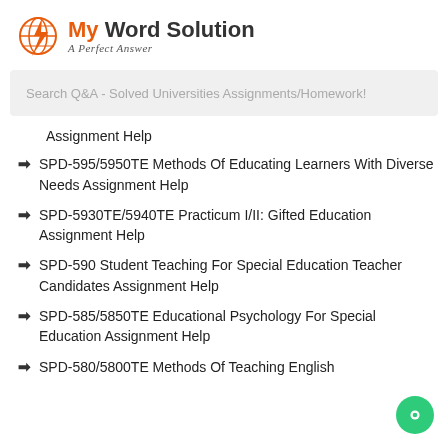[Figure (logo): My Word Solution logo with orange lightning bolt icon and text 'My Word Solution - A Perfect Answer']
Search Q&A - Solved Universities Assignments/Homework!
Assignment Help
SPD-595/5950TE Methods Of Educating Learners With Diverse Needs Assignment Help
SPD-5930TE/5940TE Practicum I/II: Gifted Education Assignment Help
SPD-590 Student Teaching For Special Education Teacher Candidates Assignment Help
SPD-585/5850TE Educational Psychology For Special Education Assignment Help
SPD-580/5800TE Methods Of Teaching English